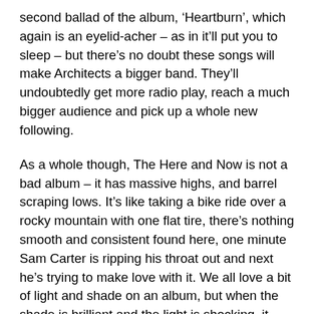second ballad of the album, ‘Heartburn’, which again is an eyelid-acher – as in it’ll put you to sleep – but there’s no doubt these songs will make Architects a bigger band. They’ll undoubtedly get more radio play, reach a much bigger audience and pick up a whole new following.
As a whole though, The Here and Now is not a bad album – it has massive highs, and barrel scraping lows. It’s like taking a bike ride over a rocky mountain with one flat tire, there’s nothing smooth and consistent found here, one minute Sam Carter is ripping his throat out and next he’s trying to make love with it. We all love a bit of light and shade on an album, but when the shade is brilliant and the light is shocking, it verges on the pointless. A perfect example of this is the album closer ‘Year in Year Out/Up and Away’ which begins with a relentless, ferocious pace, added by the vocals of Greg Puciato (Dillinger Escape Plan fame), but, after two minutes, it turns into this pointless, directionless monstrosity that lasts an extra 5 minutes. Luckily, though, as it is the final song of the album, all you need to do is take the disc out and